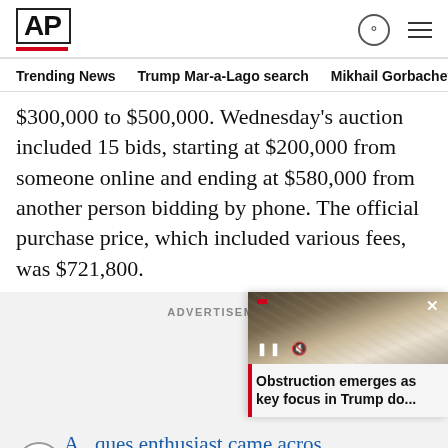AP
Trending News  Trump Mar-a-Lago search  Mikhail Gorbachev d
$300,000 to $500,000. Wednesday's auction included 15 bids, starting at $200,000 from someone online and ending at $580,000 from another person bidding by phone. The official purchase price, which included various fees, was $721,800.
ADVERTISEMENT
[Figure (screenshot): Video popup showing documents photo with caption 'Obstruction emerges as key focus in Trump do...' and a pause/mute control bar]
A...ques enthusiast came acros... era piece and thought it could be so...